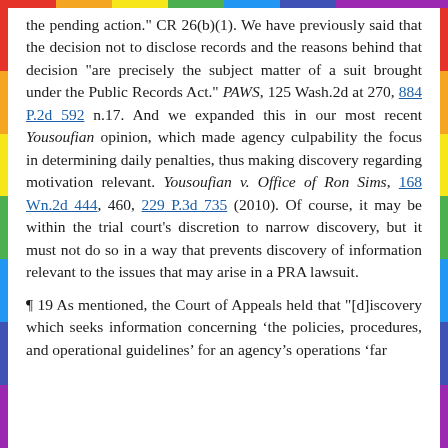the pending action." CR 26(b)(1). We have previously said that the decision not to disclose records and the reasons behind that decision "are precisely the subject matter of a suit brought under the Public Records Act." PAWS, 125 Wash.2d at 270, 884 P.2d 592 n.17. And we expanded this in our most recent Yousoufian opinion, which made agency culpability the focus in determining daily penalties, thus making discovery regarding motivation relevant. Yousoufian v. Office of Ron Sims, 168 Wn.2d 444, 460, 229 P.3d 735 (2010). Of course, it may be within the trial court's discretion to narrow discovery, but it must not do so in a way that prevents discovery of information relevant to the issues that may arise in a PRA lawsuit.
¶ 19 As mentioned, the Court of Appeals held that "[d]iscovery which seeks information concerning 'the policies, procedures, and operational guidelines' for an agency's operations 'far